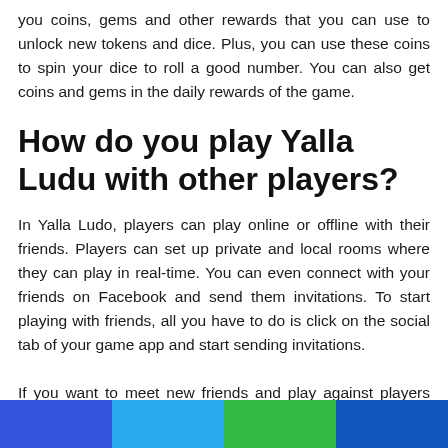you coins, gems and other rewards that you can use to unlock new tokens and dice. Plus, you can use these coins to spin your dice to roll a good number. You can also get coins and gems in the daily rewards of the game.
How do you play Yalla Ludu with other players?
In Yalla Ludo, players can play online or offline with their friends. Players can set up private and local rooms where they can play in real-time. You can even connect with your friends on Facebook and send them invitations. To start playing with friends, all you have to do is click on the social tab of your game app and start sending invitations.
If you want to meet new friends and play against players from